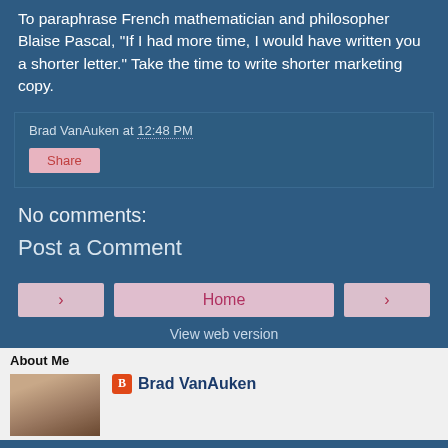To paraphrase French mathematician and philosopher Blaise Pascal, "If I had more time, I would have written you a shorter letter." Take the time to write shorter marketing copy.
Brad VanAuken at 12:48 PM
No comments:
Post a Comment
Home
View web version
About Me
Brad VanAuken